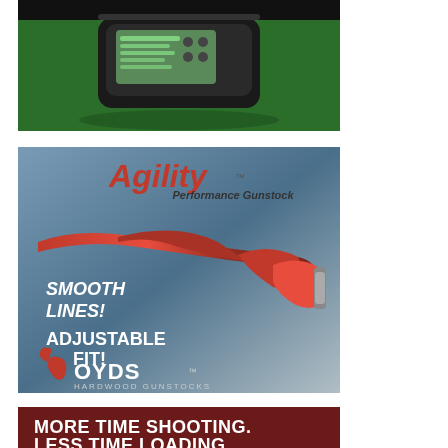[Figure (photo): Advertisement showing an electronic device (appears to be a chronograph or ballistic device) displayed on a green surface with black background.]
[Figure (photo): Boyds Hardwood Gunstocks advertisement featuring the 'Agility Performance Gunstock' — a red and grey gunstock against a blue-grey gradient background. Text reads: 'SMOOTH LINES! ADJUSTABLE FIT!' with the Boyds Hardwood Gunstocks logo at the bottom.]
[Figure (photo): Advertisement with dark red/maroon background with bold white text reading 'MORE TIME SHOOTING.' and partially visible second line beginning with 'LESS TIME LOADING.']